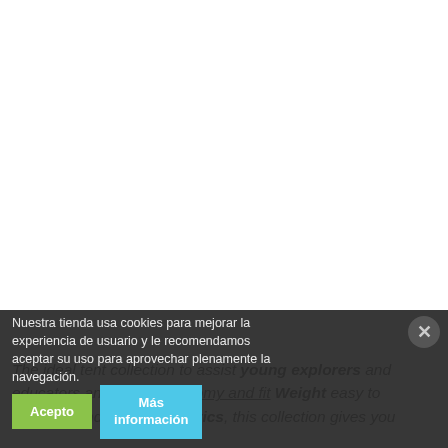[Figure (screenshot): White area representing a webpage with a cookie consent banner overlay at the bottom. The banner has dark semi-transparent background with Spanish cookie notice text, a close button (X), a green 'Acepto' button, and a blue 'Más información' button. Behind/below the banner, partially obscured English product description text is visible.]
Nuestra tienda usa cookies para mejorar la experiencia de usuario y le recomendamos aceptar su uso para aprovechar plenamente la navegación.
The ideal tent collection to assist young explorers and educators and parents. Roomy and fit Weight easy to structure and superior fabrics, this collection gives you...